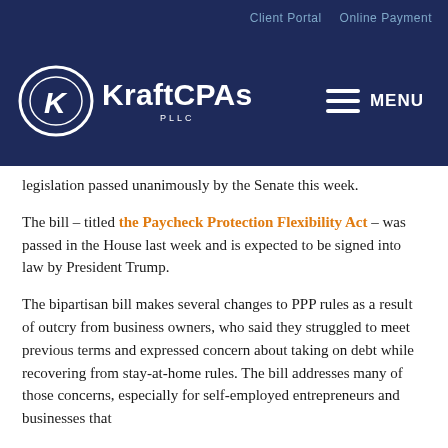Client Portal   Online Payment
[Figure (logo): KraftCPAs PLLC logo with stylized K in oval and MENU hamburger icon on dark navy background]
legislation passed unanimously by the Senate this week.
The bill – titled the Paycheck Protection Flexibility Act – was passed in the House last week and is expected to be signed into law by President Trump.
The bipartisan bill makes several changes to PPP rules as a result of outcry from business owners, who said they struggled to meet previous terms and expressed concern about taking on debt while recovering from stay-at-home rules. The bill addresses many of those concerns, especially for self-employed entrepreneurs and businesses that